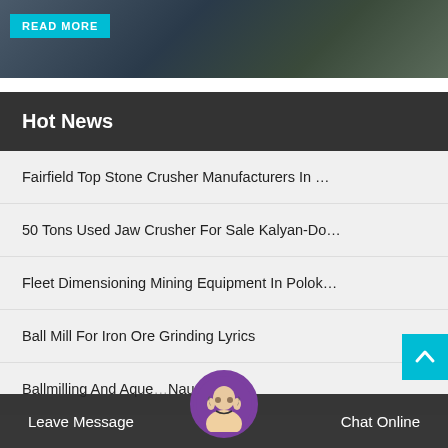[Figure (photo): Top portion of a machinery/equipment photo with a cyan 'READ MORE' button overlay]
Hot News
Fairfield Top Stone Crusher Manufacturers In …
50 Tons Used Jaw Crusher For Sale Kalyan-Do…
Fleet Dimensioning Mining Equipment In Polok…
Ball Mill For Iron Ore Grinding Lyrics
Ballmilling And Aque… Nauru
Leave Message   Chat Online